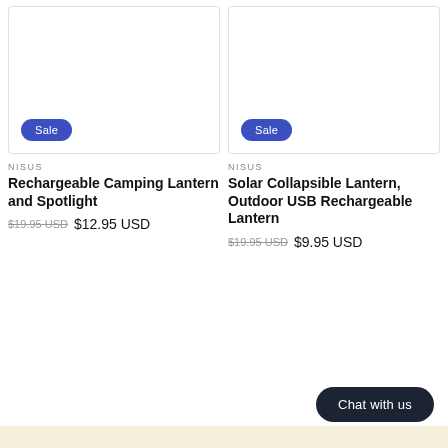[Figure (photo): Product image placeholder for Rechargeable Camping Lantern and Spotlight, white background with Sale badge]
[Figure (photo): Product image placeholder for Solar Collapsible Lantern Outdoor USB Rechargeable Lantern, white background with Sale badge]
NISUS
Rechargeable Camping Lantern and Spotlight
$19.95 USD  $12.95 USD
NISUS
Solar Collapsible Lantern, Outdoor USB Rechargeable Lantern
$19.95 USD  $9.95 USD
Chat with us